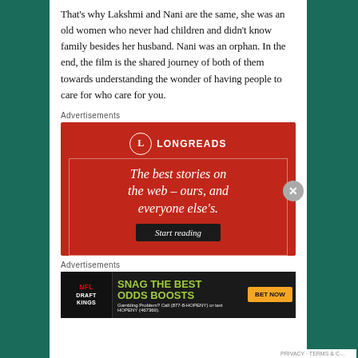That's why Lakshmi and Nani are the same, she was an old women who never had children and didn't know family besides her husband. Nani was an orphan. In the end, the film is the shared journey of both of them towards understanding the wonder of having people to care for who care for you.
Advertisements
[Figure (infographic): Longreads advertisement: red background with Longreads logo (circle with L) and tagline 'The best stories on the web – ours, and everyone else's.' with a 'Start reading' button.]
Advertisements
[Figure (infographic): DraftKings NFL advertisement: dark background with green text 'SNAG THE BEST ODDS BOOSTS' and orange 'BET NOW' button. Fine print: 'Gambling Problem? Call (877-8-HOPENY) or text HOPENY (467369).']